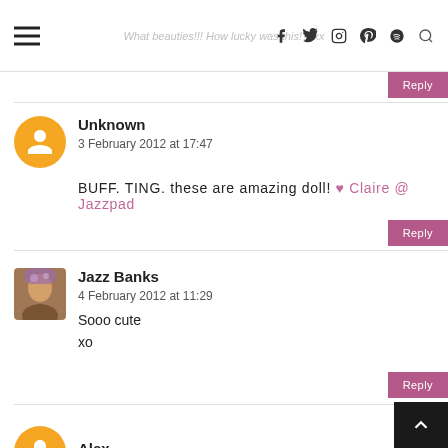What beauties!!! How lucky was this!?xxx
Reply
Unknown
3 February 2012 at 17:47
BUFF. TING. these are amazing doll! ♥ Claire @ Jazzpad
Reply
Jazz Banks
4 February 2012 at 11:29
Sooo cute
xo
Alex